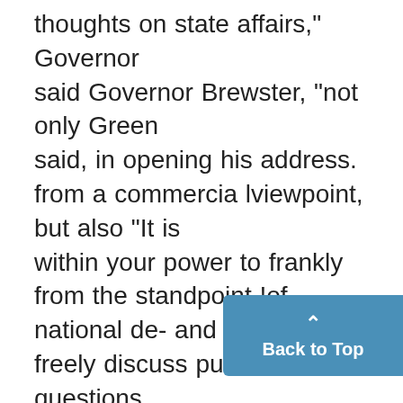thoughts on state affairs," Governor said Governor Brewster, "not only Green said, in opening his address. from a commercia lviewpoint, but also "It is within your power to frankly from the standpoint !of national de- and freely discuss public questions fense. The statement last year by from the depth of your great exper- our secretary of the navy, that tpday eaces and to aid greatly the cause of a grea liner is of more importan e to good government." the navy than a battleship, put
[Figure (other): Back to Top button, a teal/blue rounded rectangle with an upward arrow and the text 'Back to Top']